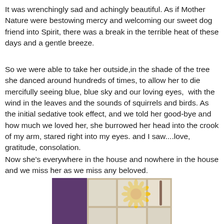It was wrenchingly sad and achingly beautiful. As if Mother Nature were bestowing mercy and welcoming our sweet dog friend into Spirit, there was a break in the terrible heat of these days and a gentle breeze.
So we were able to take her outside,in the shade of the tree she danced around hundreds of times, to allow her to die mercifully seeing blue, blue sky and our loving eyes,  with the wind in the leaves and the sounds of squirrels and birds. As the initial sedative took effect, and we told her good-bye and how much we loved her, she burrowed her head into the crook of my arm, stared right into my eyes. and I saw....love, gratitude, consolation.
Now she’s everywhere in the house and nowhere in the house and we miss her as we miss any beloved.
[Figure (photo): A window with purple curtain on the left and a yellow sun decoration visible through the window panes, with light coming through.]